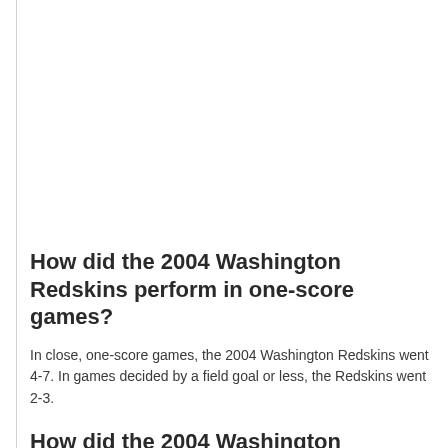How did the 2004 Washington Redskins perform in one-score games?
In close, one-score games, the 2004 Washington Redskins went 4-7. In games decided by a field goal or less, the Redskins went 2-3.
How did the 2004 Washington Redskins perform in overtime games?